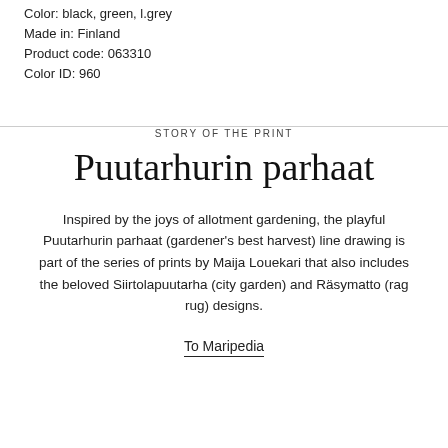Color: black, green, l.grey
Made in: Finland
Product code: 063310
Color ID: 960
STORY OF THE PRINT
Puutarhurin parhaat
Inspired by the joys of allotment gardening, the playful Puutarhurin parhaat (gardener's best harvest) line drawing is part of the series of prints by Maija Louekari that also includes the beloved Siirtolapuutarha (city garden) and Räsymatto (rag rug) designs.
To Maripedia